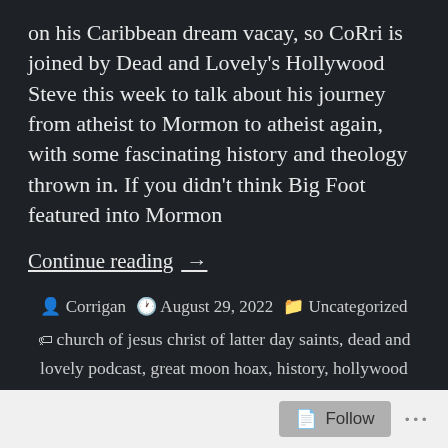on his Caribbean dream vacay, so CoRri is joined by Dead and Lovely's Hollywood Steve this week to talk about his journey from atheist to Mormon to atheist again, with some fascinating history and theology thrown in. If you didn't think Big Foot featured into Mormon
Continue reading  →
Corrigan   August 29, 2022   Uncategorized
church of jesus christ of latter day saints, dead and lovely podcast, great moon hoax, history, hollywood steve, horror, horror movies, jack of all graves, lds, mormons, movie recommendations, movie recs, movie reviews, podcast, scary movies, science, steven spratling, storytelling, violence
Leave a comment
Follow  ···